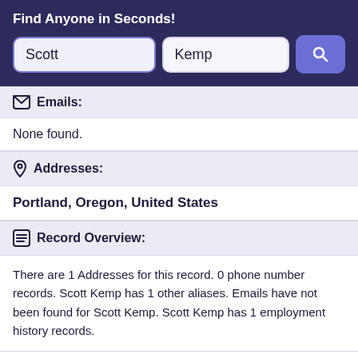Find Anyone in Seconds!
Scott
Kemp
Emails:
None found.
Addresses:
Portland, Oregon, United States
Record Overview:
There are 1 Addresses for this record. 0 phone number records. Scott Kemp has 1 other aliases. Emails have not been found for Scott Kemp. Scott Kemp has 1 employment history records.
Open Report >
Quick Overview